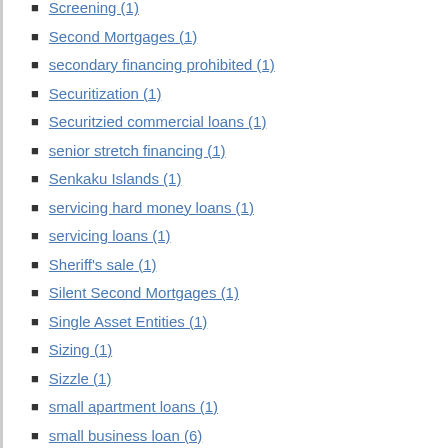Screening (1)
Second Mortgages (1)
secondary financing prohibited (1)
Securitization (1)
Securitzied commercial loans (1)
senior stretch financing (1)
Senkaku Islands (1)
servicing hard money loans (1)
servicing loans (1)
Sheriff's sale (1)
Silent Second Mortgages (1)
Single Asset Entities (1)
Sizing (1)
Sizzle (1)
small apartment loans (1)
small business loan (6)